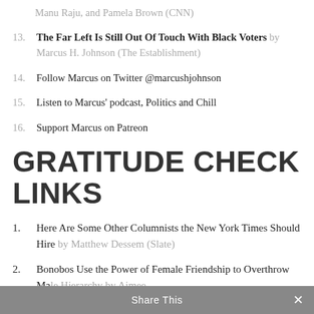Manu Raju, and Pamela Brown (CNN)
13. The Far Left Is Still Out Of Touch With Black Voters by Marcus H. Johnson (The Establishment)
14. Follow Marcus on Twitter @marcushjohnson
15. Listen to Marcus' podcast, Politics and Chill
16. Support Marcus on Patreon
GRATITUDE CHECK LINKS
1. Here Are Some Other Columnists the New York Times Should Hire by Matthew Dessem (Slate)
2. Bonobos Use the Power of Female Friendship to Overthrow Male Hierarchy by Aimee
Share This